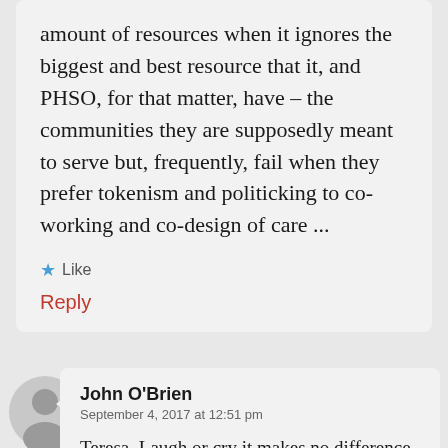amount of resources when it ignores the biggest and best resource that it, and PHSO, for that matter, have – the communities they are supposedly meant to serve but, frequently, fail when they prefer tokenism and politicking to co-working and co-design of care ...
★ Like
Reply
John O'Brien
September 4, 2017 at 12:51 pm
Teresa. Laugh or cry it makes no difference.